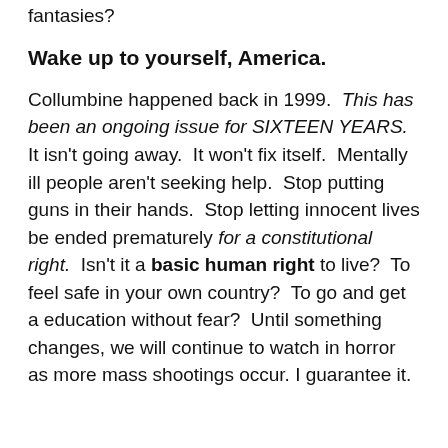fantasies?
Wake up to yourself, America.
Collumbine happened back in 1999.  This has been an ongoing issue for SIXTEEN YEARS.  It isn't going away.  It won't fix itself.  Mentally ill people aren't seeking help.  Stop putting guns in their hands.  Stop letting innocent lives be ended prematurely for a constitutional right.  Isn't it a basic human right to live?  To feel safe in your own country?  To go and get a education without fear?  Until something changes, we will continue to watch in horror as more mass shootings occur. I guarantee it.